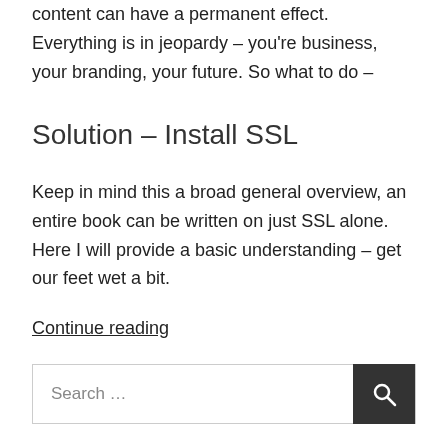content can have a permanent effect. Everything is in jeopardy – you're business, your branding, your future. So what to do –
Solution – Install SSL
Keep in mind this a broad general overview, an entire book can be written on just SSL alone. Here I will provide a basic understanding – get our feet wet a bit.
Continue reading
Search …